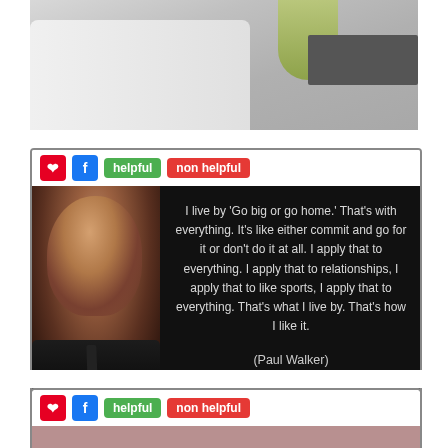[Figure (photo): Partial photo of a living room with a couch, green plant, and dark furniture piece visible at top]
[Figure (photo): Black quote card with photo of Paul Walker on the left. Quote reads: I live by 'Go big or go home.' That's with everything. It's like either commit and go for it or don't do it at all. I apply that to everything. I apply that to relationships, I apply that to like sports, I apply that to everything. That's what I live by. That's how I like it. (Paul Walker). Watermark: izquotes.com. Has Pinterest, Facebook, helpful, non helpful buttons.]
[Figure (photo): Quote card with dusty pink/mauve background. Text: THE PROSPECT OF GOING HOME IS VERY APPEALING. Has Pinterest, Facebook, helpful, non helpful buttons.]